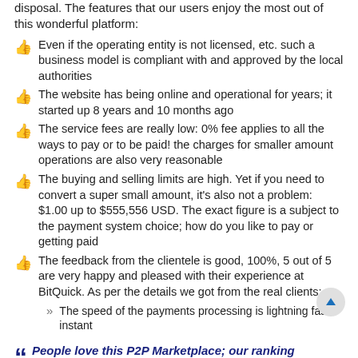disposal. The features that our users enjoy the most out of this wonderful platform:
Even if the operating entity is not licensed, etc. such a business model is compliant with and approved by the local authorities
The website has being online and operational for years; it started up 8 years and 10 months ago
The service fees are really low: 0% fee applies to all the ways to pay or to be paid! the charges for smaller amount operations are also very reasonable
The buying and selling limits are high. Yet if you need to convert a super small amount, it's also not a problem: $1.00 up to $555,556 USD. The exact figure is a subject to the payment system choice; how do you like to pay or getting paid
The feedback from the clientele is good, 100%, 5 out of 5 are very happy and pleased with their experience at BitQuick. As per the details we got from the real clients:
The speed of the payments processing is lightning fast, instant
People love this P2P Marketplace; our ranking algorithms also came up with a high score. Hence we award BitQuick with a special status: the second best P2P Marketplace worldwide! A magnificent outcome and it's fairly earned; it says a lot bearing in mind that we rate and